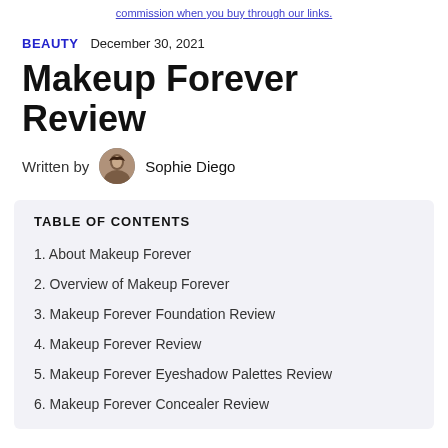commission when you buy through our links.
BEAUTY   December 30, 2021
Makeup Forever Review
Written by Sophie Diego
TABLE OF CONTENTS
1. About Makeup Forever
2. Overview of Makeup Forever
3. Makeup Forever Foundation Review
4. Makeup Forever Review
5. Makeup Forever Eyeshadow Palettes Review
6. Makeup Forever Concealer Review